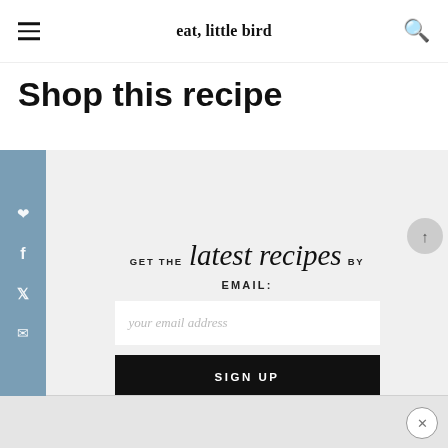eat, little bird
Shop this recipe
[Figure (other): Email newsletter signup widget with text 'GET THE latest recipes BY EMAIL:' and an email input field and SIGN UP button]
[Figure (other): Social share sidebar with Pinterest, Facebook, Twitter, and email icons on a blue-grey background]